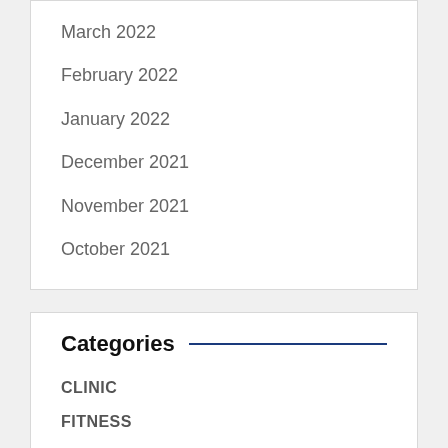March 2022
February 2022
January 2022
December 2021
November 2021
October 2021
Categories
CLINIC
FITNESS
HEALTH
MEDICAL
NUTRITION
SUPPLEMENT